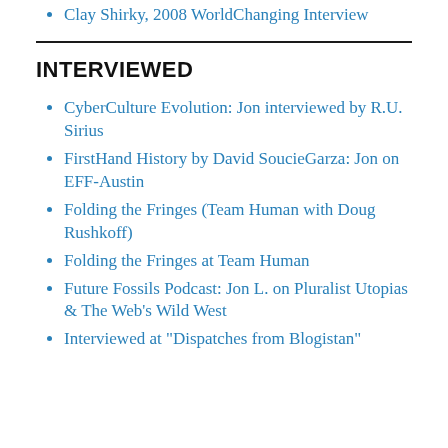Clay Shirky, 2008 WorldChanging Interview
INTERVIEWED
CyberCulture Evolution: Jon interviewed by R.U. Sirius
FirstHand History by David SoucieGarza: Jon on EFF-Austin
Folding the Fringes (Team Human with Doug Rushkoff)
Folding the Fringes at Team Human
Future Fossils Podcast: Jon L. on Pluralist Utopias & The Web's Wild West
Interviewed at "Dispatches from Blogistan"